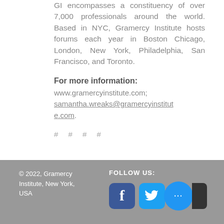GI encompasses a constituency of over 7,000 professionals around the world. Based in NYC, Gramercy Institute hosts forums each year in Boston Chicago, London, New York, Philadelphia, San Francisco, and Toronto.
For more information:
www.gramercyinstitute.com; samantha.wreaks@gramercyinstitute.com.
# # # #
© 2022, Gramercy Institute, New York, USA   FOLLOW US: